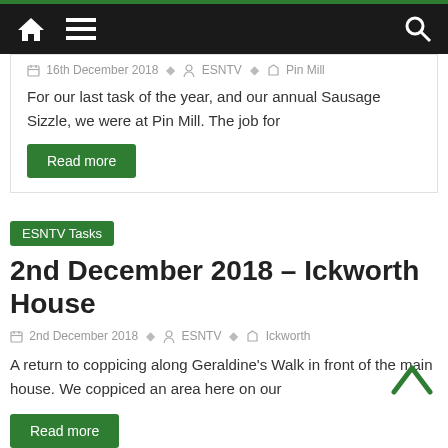Navigation bar with home icon, menu icon, and search icon
16th December 2018   ESNTV   Pin Mill
For our last task of the year, and our annual Sausage Sizzle, we were at Pin Mill. The job for
Read more
ESNTV Tasks
2nd December 2018 – Ickworth House
2nd December 2018   ESNTV   Ickworth
A return to coppicing along Geraldine's Walk in front of the main house. We coppiced an area here on our